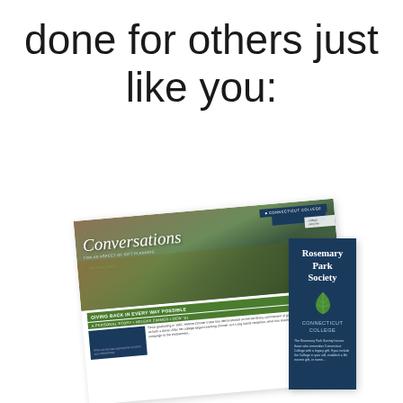done for others just like you:
[Figure (illustration): Two overlapping printed publication mockups: a Connecticut College 'Conversations' newsletter about gift planning (showing a photo of students outdoors, green bar with 'GIVING BACK IN EVERY WAY POSSIBLE', 'welcome' section, and body text), and a 'Rosemary Park Society Connecticut College' bookmark with a leaf logo and descriptive text.]